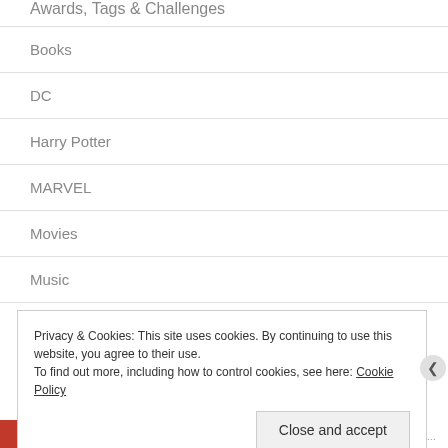Awards, Tags & Challenges
Books
DC
Harry Potter
MARVEL
Movies
Music
Privacy & Cookies: This site uses cookies. By continuing to use this website, you agree to their use.
To find out more, including how to control cookies, see here: Cookie Policy
Close and accept